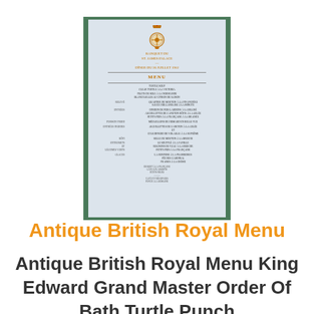[Figure (photo): Photograph of an antique British Royal Menu card from St. James's Palace, showing ornate emblem at top with gold/orange text header, followed by a menu written in French with various courses listed. The card has a pale blue-grey background and is displayed against a green surface.]
Antique British Royal Menu
Antique British Royal Menu King Edward Grand Master Order Of Bath Turtle Punch